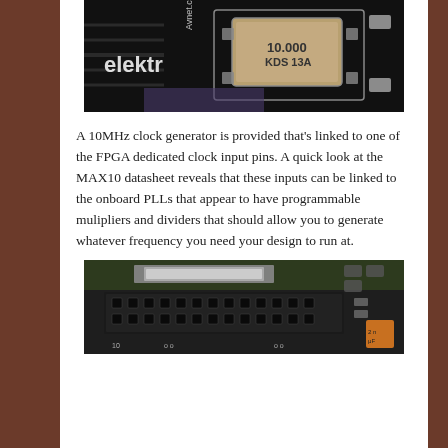[Figure (photo): Close-up photo of a PCB showing a 10.000 MHz KDS 13A crystal oscillator component on a dark circuit board with 'elektr' and 'Avnet.co' branding visible]
A 10MHz clock generator is provided that's linked to one of the FPGA dedicated clock input pins. A quick look at the MAX10 datasheet reveals that these inputs can be linked to the onboard PLLs that appear to have programmable mulipliers and dividers that should allow you to generate whatever frequency you need your design to run at.
[Figure (photo): Close-up photo of a PCB showing a black connector header and various electronic components on a green circuit board]